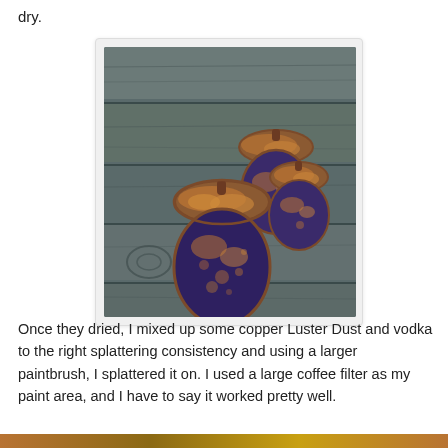dry.
[Figure (photo): Three acorn-shaped craft decorations painted dark purple/navy with copper Luster Dust spattering, resting on grey weathered wood planks.]
Once they dried, I mixed up some copper Luster Dust and vodka to the right splattering consistency and using a larger paintbrush, I splattered it on.  I used a large coffee filter as my paint area, and I have to say it worked pretty well.